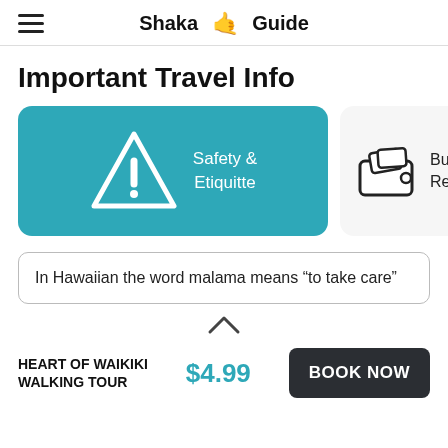Shaka 🤙 Guide
Important Travel Info
[Figure (illustration): Two cards side by side: left card is teal/blue with a warning triangle (exclamation mark) icon and text 'Safety & Etiquitte'; right card is white/grey with a wallet icon and partially visible text 'Budgeting & Reservations']
In Hawaiian the word malama means “to take care”
HEART OF WAIKIKI WALKING TOUR   $4.99   BOOK NOW